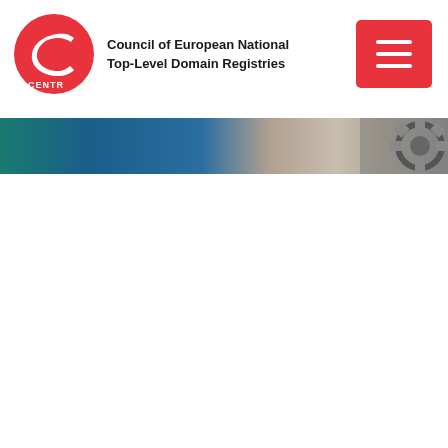[Figure (logo): CENTR logo - red circle with white wave/C shape and CENTR text, alongside organization name 'Council of European National Top-Level Domain Registries']
[Figure (other): Red hamburger menu button with three white horizontal lines]
[Figure (photo): Horizontal banner with gradient from teal/green on left through blue, beige/brown in center, to a close-up photo of metal gears/cogs on the right side]